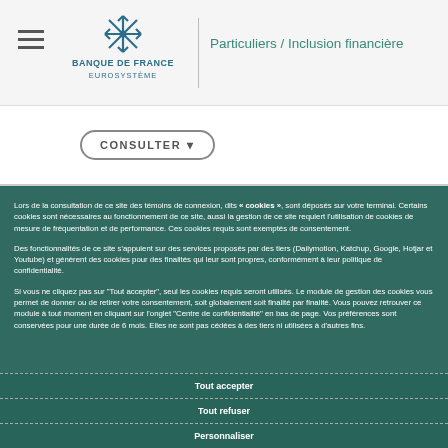Banque de France / Eurosystème — Particuliers / Inclusion financière
CONSULTER
Lors de la consultation de ce site des témoins de connexion, dits « cookies », sont déposés sur votre terminal. Certains cookies sont nécessaires au fonctionnement de ce site, aussi la gestion de ce site requiert l'utilisation de cookies de mesure de fréquentation et de performance. Ces cookies requis sont exemptés de consentement.
Des fonctionnalités de ce site s'appuient sur des services proposés par des tiers (Dailymotion, Katchup, Google, Hotjar et Youtube) et génèrent des cookies pour des finalités qui leur sont propres, conformément à leur politique de confidentialité.
Si vous ne cliquez pas sur "Tout accepter", seul les cookies requis seront utilisés. Le module de gestion des cookies vous permet de donner ou de retirer votre consentement, soit globalement soit finalité par finalité. Vous pouvez retrouver ce module à tout moment en cliquant sur l'onglet "Centre de confidentialité" en bas de page. Vos préférences sont conservées pour une durée de 6 mois. Elles ne sont pas cédées à des tiers ni utilisées à d'autres fins.
Tout accepter
Tout refuser
Personnaliser